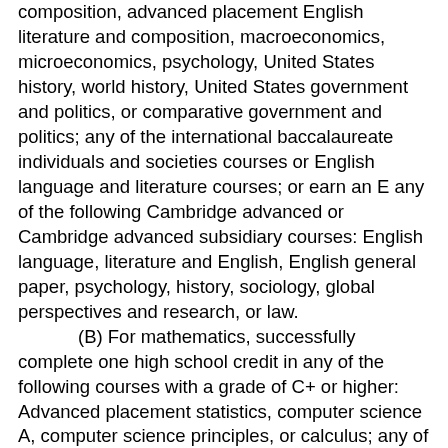composition, advanced placement English literature and composition, macroeconomics, microeconomics, psychology, United States history, world history, United States government and politics, or comparative government and politics; any of the international baccalaureate individuals and societies courses or English language and literature courses; or earn an E any of the following Cambridge advanced or Cambridge advanced subsidiary courses: English language, literature and English, English general paper, psychology, history, sociology, global perspectives and research, or law.
(B) For mathematics, successfully complete one high school credit in any of the following courses with a grade of C+ or higher: Advanced placement statistics, computer science A, computer science principles, or calculus; any of the international baccalaureate mathematics courses; or a Cambridge advanced or advanced subsidiary mathematics or further mathematics course.
(ii) Score a three or higher on advanced placement exams in one of the English language arts